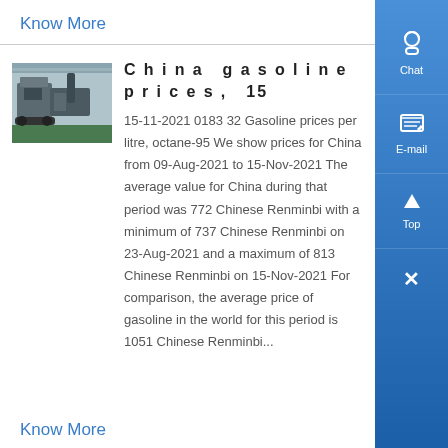Know More
China gasoline prices, 15
[Figure (photo): Industrial machinery or equipment in a warehouse/factory setting]
15-11-2021 0183 32 Gasoline prices per litre, octane-95 We show prices for China from 09-Aug-2021 to 15-Nov-2021 The average value for China during that period was 772 Chinese Renminbi with a minimum of 737 Chinese Renminbi on 23-Aug-2021 and a maximum of 813 Chinese Renminbi on 15-Nov-2021 For comparison, the average price of gasoline in the world for this period is 1051 Chinese Renminbi...
Know More